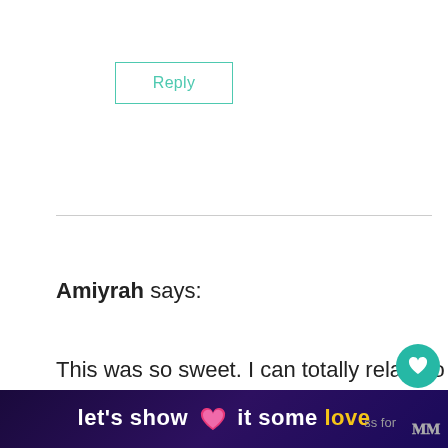Reply
Amiyrah says:
This was so sweet. I can totally relate to figuring out one-one time with each kid even with just two. My son alwa... as a treat when he gets to spend time
[Figure (screenshot): Ad bar at bottom: let's show it some love with heart icon, yellow 'love' word, dark purple background]